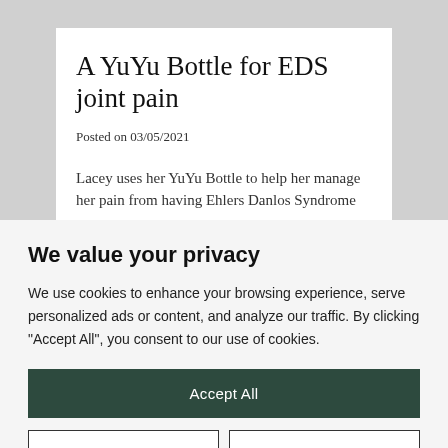A YuYu Bottle for EDS joint pain
Posted on 03/05/2021
Lacey uses her YuYu Bottle to help her manage her pain from having Ehlers Danlos Syndrome
We value your privacy
We use cookies to enhance your browsing experience, serve personalized ads or content, and analyze our traffic. By clicking "Accept All", you consent to our use of cookies.
Accept All
Customize
Reject All